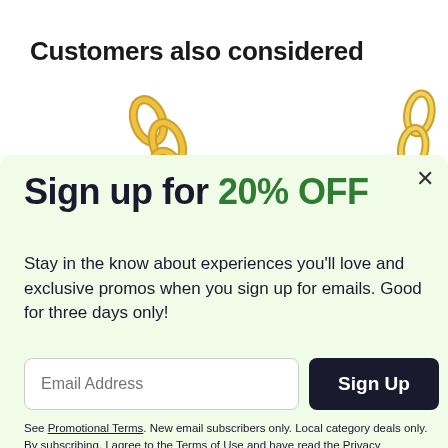Customers also considered
[Figure (illustration): Gold chain jewelry piece, partially visible on left side]
[Figure (illustration): Gold chain jewelry piece, partially visible on right side]
Sign up for 20% OFF
Stay in the know about experiences you'll love and exclusive promos when you sign up for emails. Good for three days only!
Email Address [input field] Sign Up [button]
See Promotional Terms. New email subscribers only. Local category deals only. By subscribing, I agree to the Terms of Use and have read the Privacy Statement